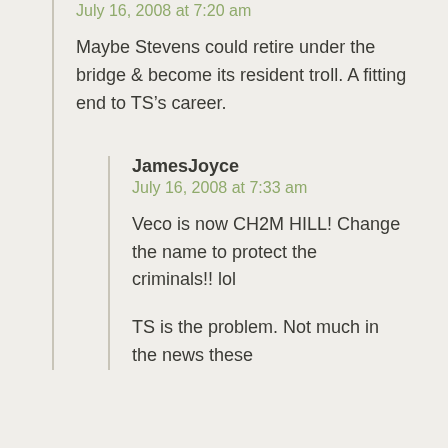July 16, 2008 at 7:20 am
Maybe Stevens could retire under the bridge & become its resident troll. A fitting end to TS’s career.
JamesJoyce
July 16, 2008 at 7:33 am
Veco is now CH2M HILL! Change the name to protect the criminals!! lol
TS is the problem. Not much in the news these